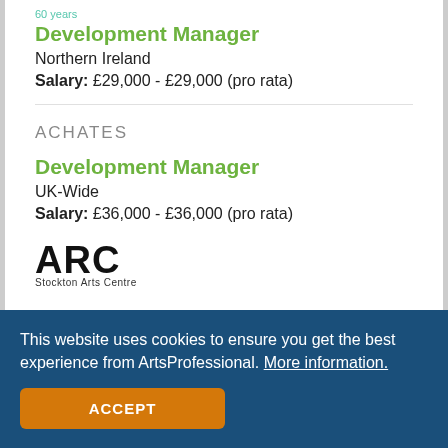60 years
Development Manager
Northern Ireland
Salary: £29,000 - £29,000 (pro rata)
[Figure (logo): ACHATES text logo in grey]
Development Manager
UK-Wide
Salary: £36,000 - £36,000 (pro rata)
[Figure (logo): ARC Stockton Arts Centre logo]
This website uses cookies to ensure you get the best experience from ArtsProfessional. More information.
ACCEPT